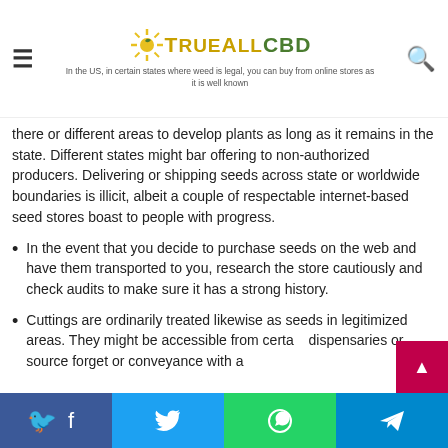TrueAllCBD — In the US, in certain states where weed is legal, you can buy from online stores as it is well known
there or different areas to develop plants as long as it remains in the state. Different states might bar offering to non-authorized producers. Delivering or shipping seeds across state or worldwide boundaries is illicit, albeit a couple of respectable internet-based seed stores boast to people with progress.
In the event that you decide to purchase seeds on the web and have them transported to you, research the store cautiously and check audits to make sure it has a strong history.
Cuttings are ordinarily treated likewise as seeds in legitimized areas. They might be accessible from certain dispensaries or source forget or conveyance with a
Facebook  Twitter  WhatsApp  Telegram